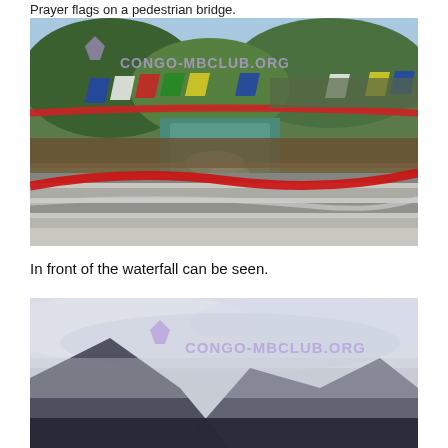Prayer flags on a pedestrian bridge.
[Figure (photo): Colorful prayer flags strung across a wooden pedestrian bridge over a turquoise river, surrounded by dense green trees. Watermark reads CONGO-MBCLUB.ORG.]
In front of the waterfall can be seen.
[Figure (photo): Mountain landscape with misty peaks partially obscured by clouds. Watermark reads CONGO-MBCLUB.ORG.]